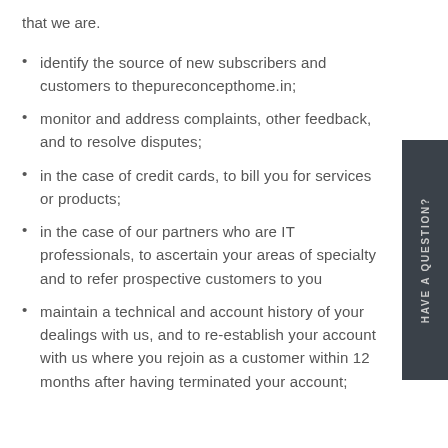that we are.
identify the source of new subscribers and customers to thepureconcepthome.in;
monitor and address complaints, other feedback, and to resolve disputes;
in the case of credit cards, to bill you for services or products;
in the case of our partners who are IT professionals, to ascertain your areas of specialty and to refer prospective customers to you
maintain a technical and account history of your dealings with us, and to re-establish your account with us where you rejoin as a customer within 12 months after having terminated your account;